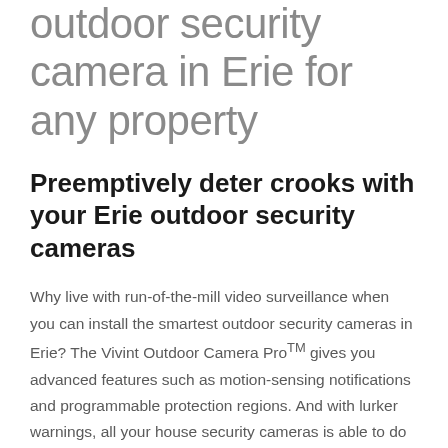outdoor security camera in Erie for any property
Preemptively deter crooks with your Erie outdoor security cameras
Why live with run-of-the-mill video surveillance when you can install the smartest outdoor security cameras in Erie? The Vivint Outdoor Camera ProTM gives you advanced features such as motion-sensing notifications and programmable protection regions. And with lurker warnings, all your house security cameras is able to do more than record a burglary -- they can help fully prevent one from happening.
The Vivint Outdoor Camera Pro provides you with a